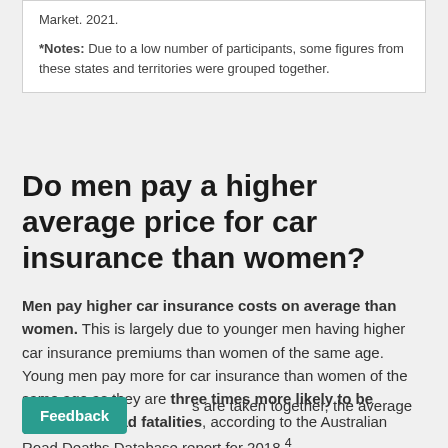Market. 2021.
*Notes: Due to a low number of participants, some figures from these states and territories were grouped together.
Do men pay a higher average price for car insurance than women?
Men pay higher car insurance costs on average than women. This is largely due to younger men having higher car insurance premiums than women of the same age. Young men pay more for car insurance than women of the same age as they are three times more likely to be involved in road fatalities, according to the Australian Road Deaths Database report for 2018.⁴
When all ages are taken together, the average cost is much